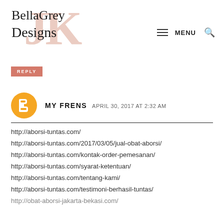[Figure (logo): BellaGrey Designs logo with stylized cursive text over large 'JK' letters in pale pink]
REPLY
MY FRENS   APRIL 30, 2017 AT 2:32 AM
http://aborsi-tuntas.com/
http://aborsi-tuntas.com/2017/03/05/jual-obat-aborsi/
http://aborsi-tuntas.com/kontak-order-pemesanan/
http://aborsi-tuntas.com/syarat-ketentuan/
http://aborsi-tuntas.com/tentang-kami/
http://aborsi-tuntas.com/testimoni-berhasil-tuntas/
http://obat-aborsi-jakarta-bekasi.com/